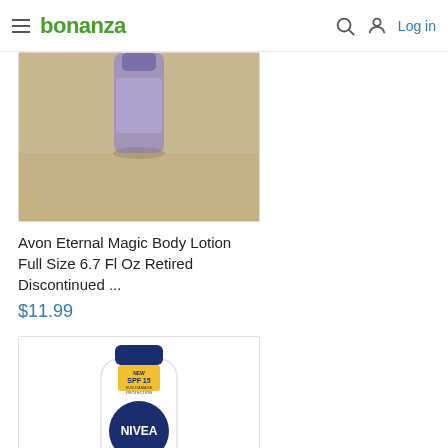bonanza | Log in
[Figure (photo): Partial view of Avon Eternal Magic Body Lotion bottle (purple cap visible) on a tan/beige surface]
Avon Eternal Magic Body Lotion Full Size 6.7 Fl Oz Retired Discontinued ...
$11.99
[Figure (photo): NIVEA body lotion Aloe Protection bottle with SPF 15, dark blue cap, white bottle with blue NIVEA circle logo, 200ml, All Skin Types, aloe vera leaf graphic]